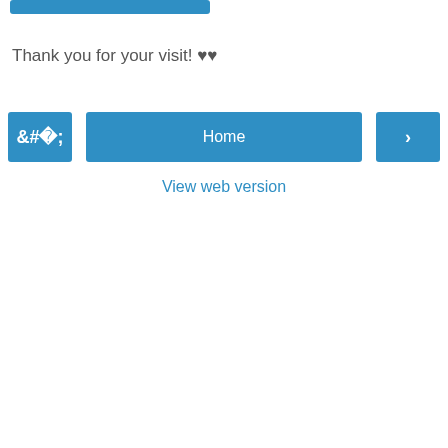[Figure (other): Blue navigation bar / button strip at top]
Thank you for your visit! ♥♥
[Figure (other): Navigation row with left arrow button, Home button, and right arrow button]
View web version